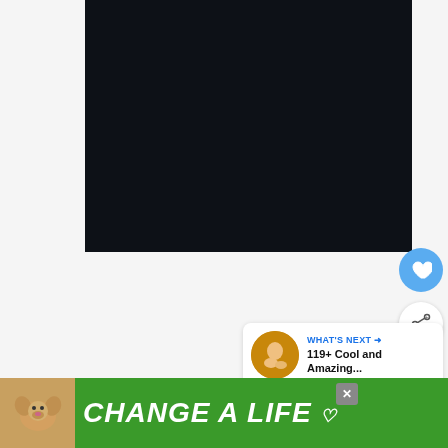[Figure (photo): Dark/black video or image embed block]
[Figure (other): Heart/like button (blue circle with heart icon) and share button (white circle with share icon)]
[Figure (other): What's Next card showing thumbnail and '119+ Cool and Amazing...' text]
You are someone's reason for happiness so
[Figure (other): Green advertisement banner reading CHANGE A LIFE with dog image and close button]